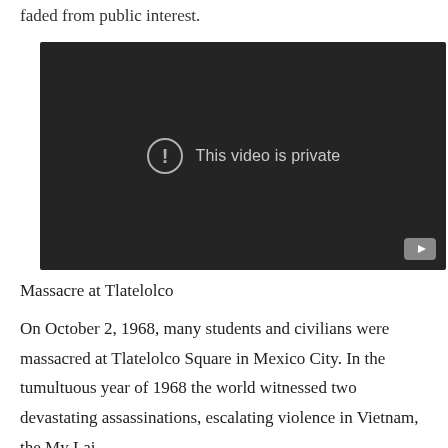faded from public interest.
[Figure (screenshot): A video player showing a dark/black screen with a circle-exclamation icon and the message 'This video is private', and a YouTube logo button in the bottom-right corner.]
Massacre at Tlatelolco
On October 2, 1968, many students and civilians were massacred at Tlatelolco Square in Mexico City. In the tumultuous year of 1968 the world witnessed two devastating assassinations, escalating violence in Vietnam, the My Lai